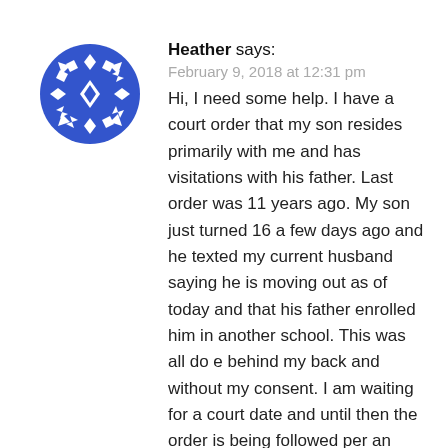[Figure (illustration): Blue decorative snowflake/geometric pattern avatar for user Heather]
Heather says:
February 9, 2018 at 12:31 pm
Hi, I need some help. I have a court order that my son resides primarily with me and has visitations with his father. Last order was 11 years ago. My son just turned 16 a few days ago and he texted my current husband saying he is moving out as of today and that his father enrolled him in another school. This was all do e behind my back and without my consent. I am waiting for a court date and until then the order is being followed per an emergency court hearing yesterday. My concern is that my son does not have a room at his dad's house he sleeps on